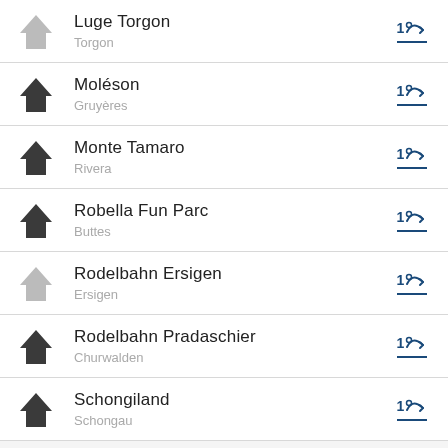Luge Torgon – Torgon
Moléson – Gruyères
Monte Tamaro – Rivera
Robella Fun Parc – Buttes
Rodelbahn Ersigen – Ersigen
Rodelbahn Pradaschier – Churwalden
Schongiland – Schongau